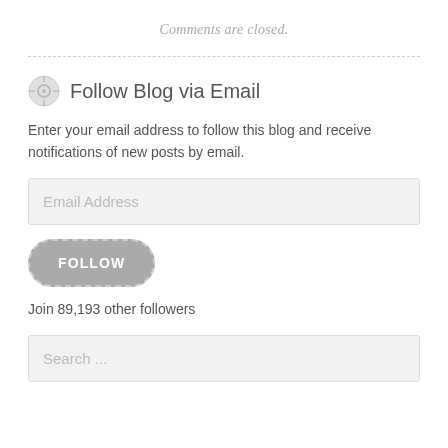Comments are closed.
Follow Blog via Email
Enter your email address to follow this blog and receive notifications of new posts by email.
Email Address
FOLLOW
Join 89,193 other followers
Search ...